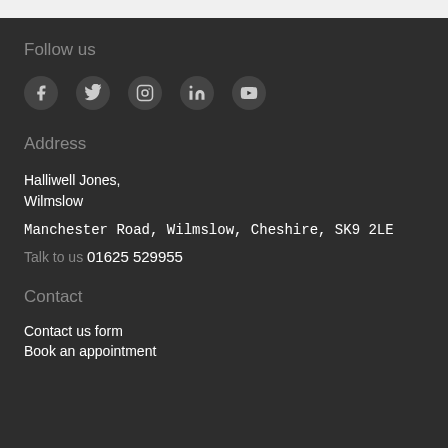Follow us
[Figure (infographic): Social media icons: Facebook, Twitter, Instagram, LinkedIn, YouTube — each inside a dark circle]
Address
Halliwell Jones,
Wilmslow
Manchester Road, Wilmslow, Cheshire, SK9 2LE
Talk to us  01625 529955
Contact
Contact us form
Book an appointment